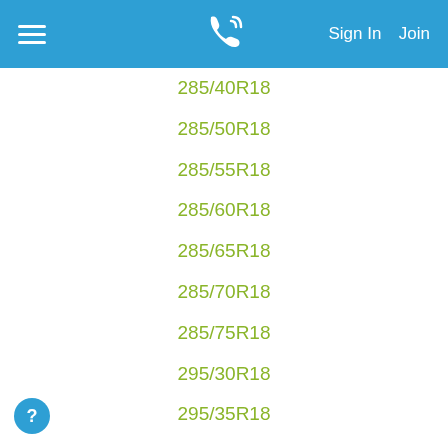Sign In   Join
285/40R18
285/50R18
285/55R18
285/60R18
285/65R18
285/70R18
285/75R18
295/30R18
295/35R18
295/45R18
295/65R18
295/70R18
305/30R18
305/60R18
305/65R18